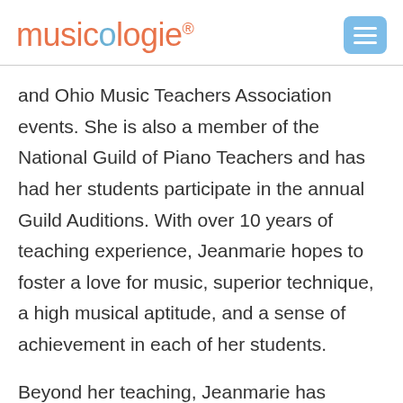musicologie
and Ohio Music Teachers Association events. She is also a member of the National Guild of Piano Teachers and has had her students participate in the annual Guild Auditions. With over 10 years of teaching experience, Jeanmarie hopes to foster a love for music, superior technique, a high musical aptitude, and a sense of achievement in each of her students.
Beyond her teaching, Jeanmarie has served as a pianist for the Columbus Ballet (BalletMet) and